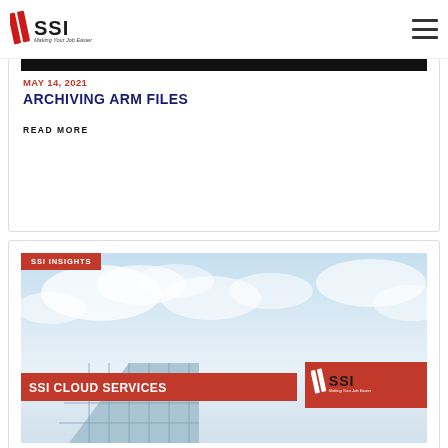SSI Making Your Job Easier
MAY 14, 2021
ARCHIVING ARM FILES
READ MORE
[Figure (photo): SSI Insights banner with cloud services image showing glass building against cloudy sky, SSI Cloud Services text overlay and SSI Making Your Job Easier logo]